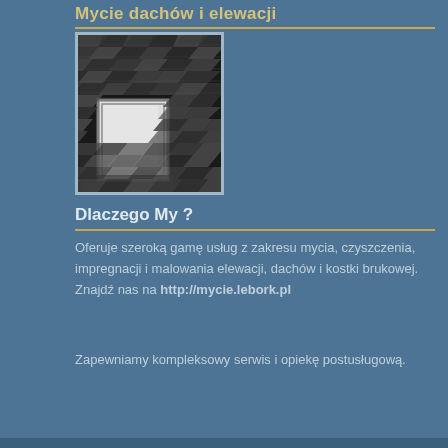Mycie dachów i elewacji
[Figure (photo): Black and white photo of a tiled roof with a skylight window]
Dlaczego My ?
Oferuje szeroką gamę usług z zakresu mycia, czyszczenia, impregnacji i malowania elewacji, dachów i kostki brukowej.  Znajdź nas na http://mycie.lebork.pl
Zapewniamy kompleksowy serwis i opiekę postusługową.